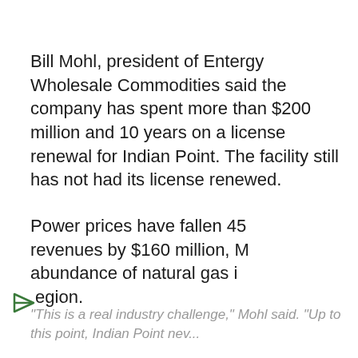Bill Mohl, president of Entergy Wholesale Commodities said the company has spent more than $200 million and 10 years on a license renewal for Indian Point. The facility still has not had its license renewed.
Power prices have fallen 45[...] revenues by $160 million, M[...] abundance of natural gas i[...] region.
[Figure (screenshot): Video player overlay showing two male news anchors on a TV set with a WALL STREET chyron. A play button is visible in the center. Close buttons appear at top-right and bottom-right.]
"This is a real industry challenge," Mohl said. "Up to this point, Indian Point nev...